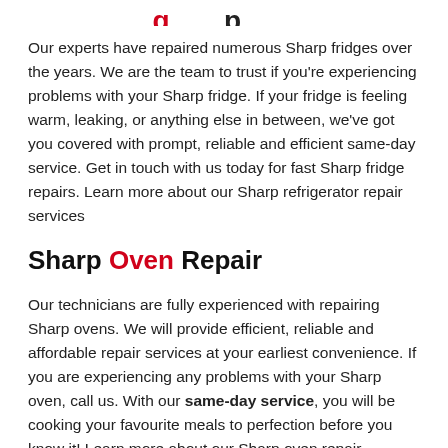Sharp Fridge Repair (partial, cut off at top)
Our experts have repaired numerous Sharp fridges over the years. We are the team to trust if you're experiencing problems with your Sharp fridge. If your fridge is feeling warm, leaking, or anything else in between, we've got you covered with prompt, reliable and efficient same-day service. Get in touch with us today for fast Sharp fridge repairs. Learn more about our Sharp refrigerator repair services
Sharp Oven Repair
Our technicians are fully experienced with repairing Sharp ovens. We will provide efficient, reliable and affordable repair services at your earliest convenience. If you are experiencing any problems with your Sharp oven, call us. With our same-day service, you will be cooking your favourite meals to perfection before you know it! Learn more about our Sharp oven repair services